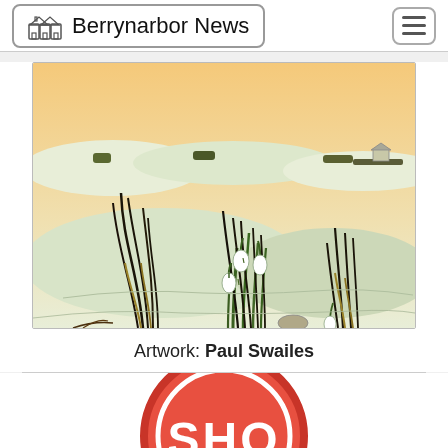Berrynarbor News
[Figure (illustration): Ink and watercolour illustration of snowdrops growing in a snowy countryside landscape with rolling hills, hedgerows, and grasses in the background. The scene has a warm golden sky.]
Artwork: Paul Swailes
[Figure (other): Bottom portion of a red circular sign with large white bold text beginning 'SHO...' (partially visible, sign cropped at bottom of page)]